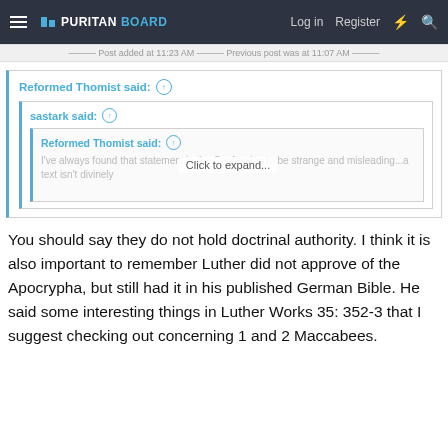PURITANBOARD — Log in | Register
Post added at 11:23 AM — Previous post was at 11:07 AM
Reformed Thomist said: ↑
sastark said: ↑
Reformed Thomist said: ↑
I've always found that statement in the Confession to be strange and misleading...a text isn't divinely
Click to expand...
You should say they do not hold doctrinal authority. I think it is also important to remember Luther did not approve of the Apocrypha, but still had it in his published German Bible. He said some interesting things in Luther Works 35: 352-3 that I suggest checking out concerning 1 and 2 Maccabees.